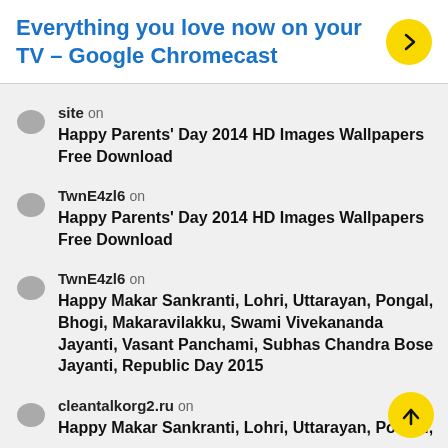Everything you love now on your TV – Google Chromecast
site on
Happy Parents' Day 2014 HD Images Wallpapers Free Download
TwnE4zl6 on
Happy Parents' Day 2014 HD Images Wallpapers Free Download
TwnE4zl6 on
Happy Makar Sankranti, Lohri, Uttarayan, Pongal, Bhogi, Makaravilakku, Swami Vivekananda Jayanti, Vasant Panchami, Subhas Chandra Bose Jayanti, Republic Day 2015
cleantalkorg2.ru on
Happy Makar Sankranti, Lohri, Uttarayan, Pongal,